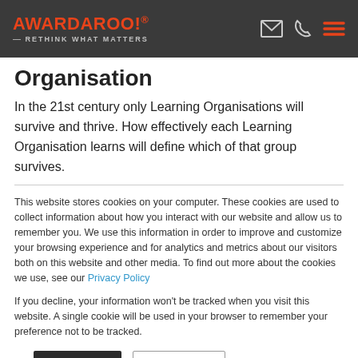AWARDAROO! RETHINK WHAT MATTERS
Organisation
In the 21st century only Learning Organisations will survive and thrive. How effectively each Learning Organisation learns will define which of that group survives.
This website stores cookies on your computer. These cookies are used to collect information about how you interact with our website and allow us to remember you. We use this information in order to improve and customize your browsing experience and for analytics and metrics about our visitors both on this website and other media. To find out more about the cookies we use, see our Privacy Policy
If you decline, your information won't be tracked when you visit this website. A single cookie will be used in your browser to remember your preference not to be tracked.
Accept   Decline